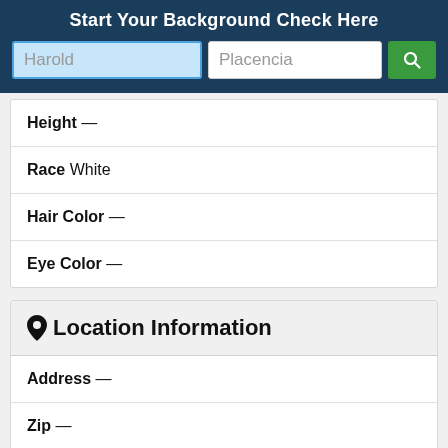Start Your Background Check Here
[Figure (screenshot): Search form with first name field 'Harold' (highlighted blue), last name field 'Placencia', and green search button with magnifying glass icon]
| Height — |
| Race White |
| Hair Color — |
| Eye Color — |
Location Information
| Address — |
| Zip — |